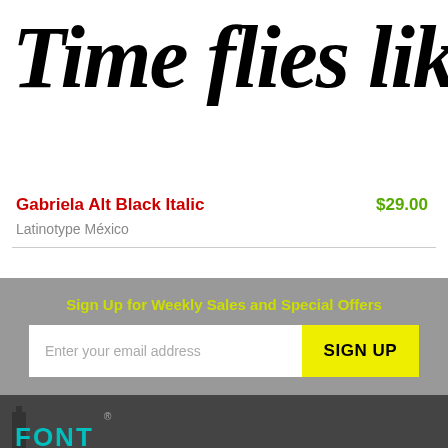[Figure (illustration): Font specimen showing italic bold text 'Time flies like an' in a large black serif font, cropped]
Gabriela Alt Black Italic
$29.00
Latinotype México
Sign Up for Weekly Sales and Special Offers
Enter your email address
SIGN UP
[Figure (logo): FONT shop logo in teal/cyan with registered trademark symbol on dark background]
[Figure (infographic): Social sharing buttons row: Facebook (blue), Pinterest (red), Twitter (light blue), Email (grey), More/Plus (salmon/orange-red)]